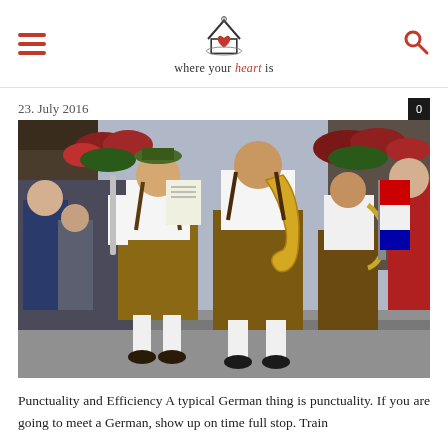where your heart is
23. July 2016
[Figure (photo): German Bavarian musicians in traditional lederhosen and white shirts playing brass instruments (clarinet and saxophone) while marching in a street parade. Red flower decorations visible on building in background, crowd watching from the side.]
Punctuality and Efficiency A typical German thing is punctuality. If you are going to meet a German, show up on time full stop. Train